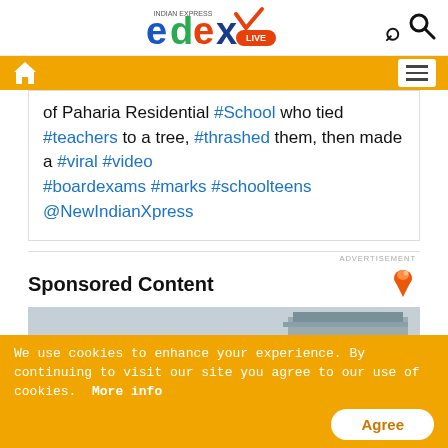[Figure (logo): EdexLive logo from Indian Express]
[Figure (screenshot): Navigation bar with home icon and hamburger menu on orange background]
of Paharia Residential #School who tied #teachers to a tree, #thrashed them, then made a #viral #video #boardexams #marks #schoolteens @NewIndianXpress
ADVERTISEMENT
Sponsored Content
[Figure (photo): Parking lot with cars and a building in the background]
We use cookies to enhance your experience. By continuing to visit our site you agree to our use of cookies. More info